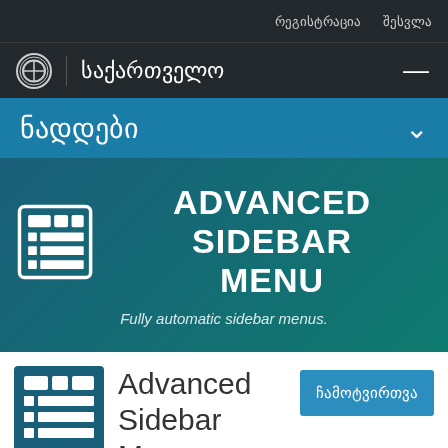რეგისტრაცია  შესვლა
საქართველო
ნადდები
[Figure (logo): Advanced Sidebar Menu plugin banner with icon, title 'ADVANCED SIDEBAR MENU', and subtitle 'Fully automatic sidebar menus.']
Advanced Sidebar Menu
ჩამოტვირთვა